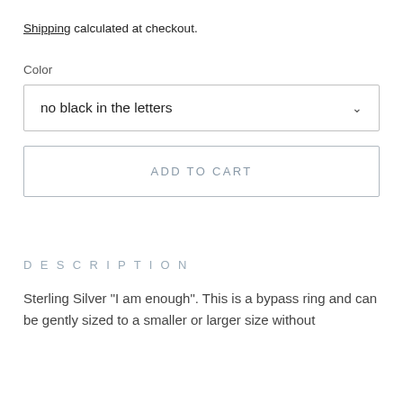Shipping calculated at checkout.
Color
no black in the letters
ADD TO CART
DESCRIPTION
Sterling Silver "I am enough". This is a bypass ring and can be gently sized to a smaller or larger size without